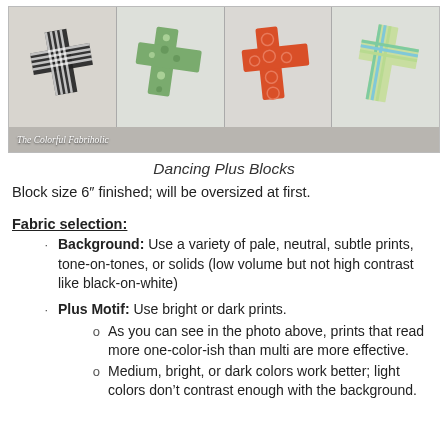[Figure (photo): Photo of four quilt blocks arranged in a row, each a plus/cross shape in different fabric patterns: black and white stripes, green floral print, orange with circles, and green/blue stripes on white background. Watermark reads 'The Colorful Fabriholic'.]
Dancing Plus Blocks
Block size 6" finished; will be oversized at first.
Fabric selection:
Background: Use a variety of pale, neutral, subtle prints, tone-on-tones, or solids (low volume but not high contrast like black-on-white)
Plus Motif: Use bright or dark prints.
As you can see in the photo above, prints that read more one-color-ish than multi are more effective.
Medium, bright, or dark colors work better; light colors don't contrast enough with the background.